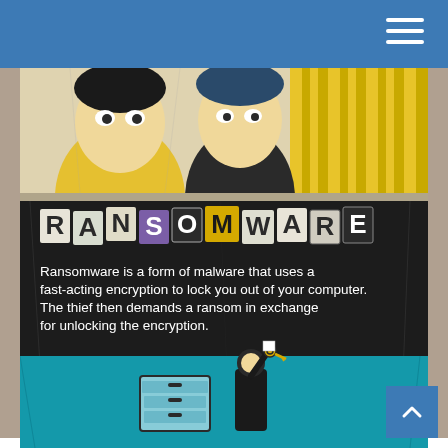[Figure (illustration): Vintage comic-style illustration showing two characters (one in yellow, one dark-haired) from shoulders up, with striped yellow pattern background on right side]
[Figure (infographic): Dark background ransomware information card with cut-out ransom-note style letters spelling RANSOMWARE and descriptive text below, plus a teal illustration of a thief holding up a key next to a filing cabinet]
RANSOMWARE
Ransomware is a form of malware that uses a fast-acting encryption to lock you out of your computer. The thief then demands a ransom in exchange for unlocking the encryption.